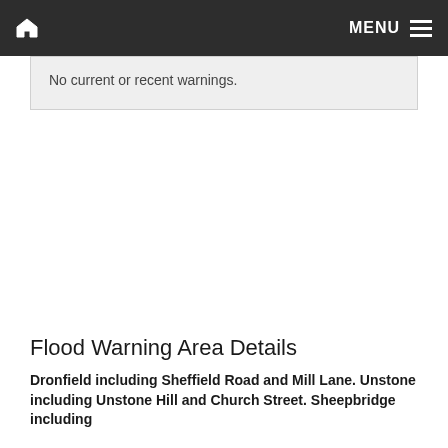MENU
No current or recent warnings.
Flood Warning Area Details
Dronfield including Sheffield Road and Mill Lane. Unstone including Unstone Hill and Church Street. Sheepbridge including